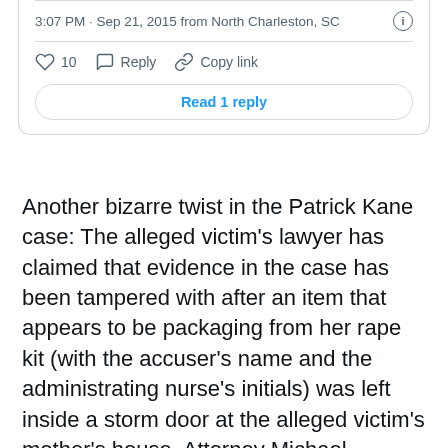[Figure (screenshot): Twitter/X post metadata: timestamp '3:07 PM · Sep 21, 2015 from North Charleston, SC' with an info icon, a divider, action row with heart icon '10', reply icon 'Reply', link icon 'Copy link', and a 'Read 1 reply' button.]
Another bizarre twist in the Patrick Kane case: The alleged victim's lawyer has claimed that evidence in the case has been tampered with after an item that appears to be packaging from her rape kit (with the accuser's name and the administrating nurse's initials) was left inside a storm door at the alleged victim's mother's house. Attorney Michael McCann talked with Allan Muir about what might happen next. [Sports Illustrated]